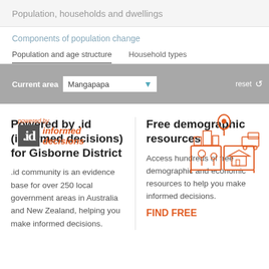Population, households and dwellings
Components of population change
Population and age structure
Household types
Current area: Mangapapa
[Figure (logo): powered by .id informed decisions logo with orange text and grey square]
[Figure (illustration): Orange line-art illustration of an open book with location pins, buildings, and houses representing community/demographic resources]
Powered by .id (informed decisions) for Gisborne District
.id community is an evidence base for over 250 local government areas in Australia and New Zealand, helping you make informed decisions.
Free demographic resources
Access hundreds of free demographic and economic resources to help you make informed decisions.
FIND FREE